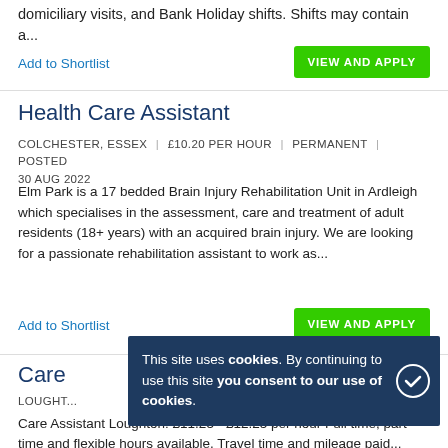domiciliary visits, and Bank Holiday shifts. Shifts may contain a...
Add to Shortlist
VIEW AND APPLY
Health Care Assistant
COLCHESTER, ESSEX | £10.20 PER HOUR | PERMANENT | POSTED 30 AUG 2022
Elm Park is a 17 bedded Brain Injury Rehabilitation Unit in Ardleigh which specialises in the assessment, care and treatment of adult residents (18+ years) with an acquired brain injury. We are looking for a passionate rehabilitation assistant to work as...
Add to Shortlist
VIEW AND APPLY
Care ...
LOUGHT...
Care Assistant Loughton: £11.25 - £12.25 per hour Full time, part-time and flexible hours available. Travel time and mileage paid...
This site uses cookies. By continuing to use this site you consent to our use of cookies.